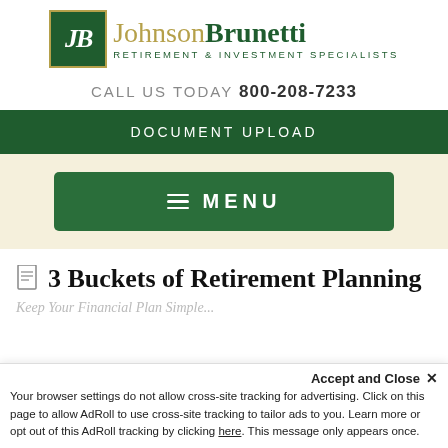[Figure (logo): Johnson Brunetti logo with green JB monogram box and gold/green text]
CALL US TODAY 800-208-7233
DOCUMENT UPLOAD
≡ MENU
3 Buckets of Retirement Planning
Keep Your Financial Plan Simple...
Accept and Close ×
Your browser settings do not allow cross-site tracking for advertising. Click on this page to allow AdRoll to use cross-site tracking to tailor ads to you. Learn more or opt out of this AdRoll tracking by clicking here. This message only appears once.